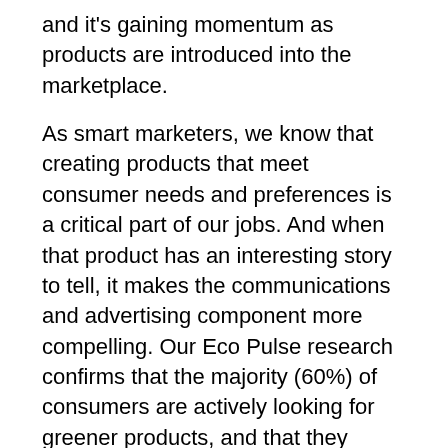and it's gaining momentum as products are introduced into the marketplace.
As smart marketers, we know that creating products that meet consumer needs and preferences is a critical part of our jobs. And when that product has an interesting story to tell, it makes the communications and advertising component more compelling. Our Eco Pulse research confirms that the majority (60%) of consumers are actively looking for greener products, and that they prefer the word “natural” on the label. So developing products that borrow ideas from nature seems like a win-win situation, and biomimicry is starting to play a role in creating more sustainable products.
In Harare, Zimbabwe, the Eastgate Centre high-rise building takes its energy-efficient